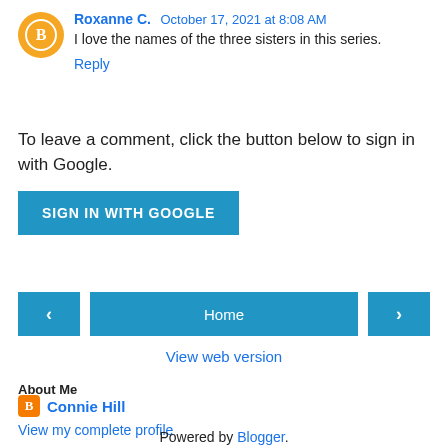Roxanne C.  October 17, 2021 at 8:08 AM
I love the names of the three sisters in this series.
Reply
To leave a comment, click the button below to sign in with Google.
SIGN IN WITH GOOGLE
< Home >
View web version
About Me
Connie Hill
View my complete profile
Powered by Blogger.